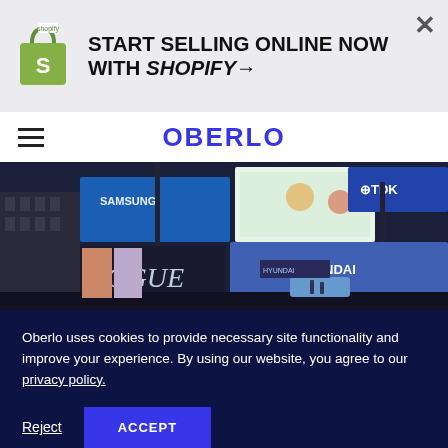[Figure (logo): Shopify ad banner with green bag logo and text START SELLING ONLINE NOW WITH SHOPIFY arrow]
OBERLO
[Figure (photo): Night photo of Piccadilly Circus area with large digital billboard screens showing Samsung, TDK, Hyundai, and Vogue advertisements]
Oberlo uses cookies to provide necessary site functionality and improve your experience. By using our website, you agree to our privacy policy.
Reject  ACCEPT